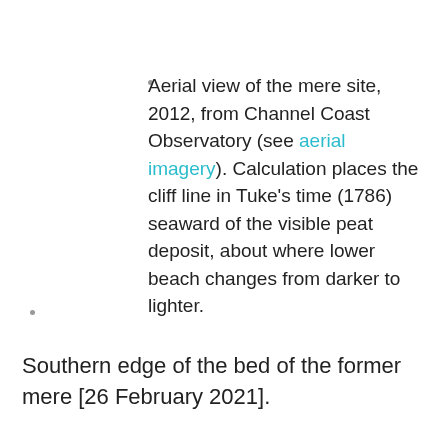Aerial view of the mere site, 2012, from Channel Coast Observatory (see aerial imagery). Calculation places the cliff line in Tuke's time (1786) seaward of the visible peat deposit, about where lower beach changes from darker to lighter.
Southern edge of the bed of the former mere [26 February 2021].